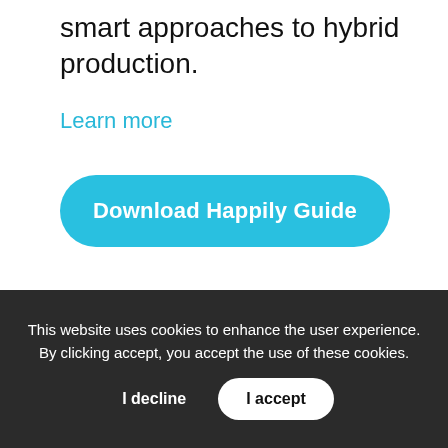smart approaches to hybrid production.
Learn more
Download Happily Guide
This website uses cookies to enhance the user experience. By clicking accept, you accept the use of these cookies.
I decline
I accept